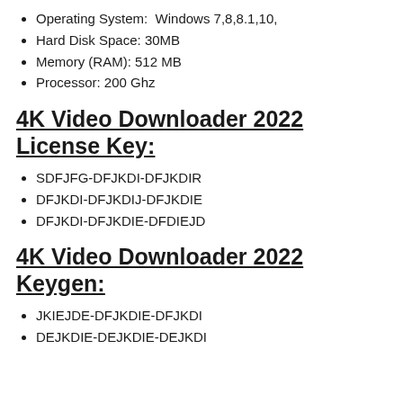Operating System:  Windows 7,8,8.1,10,
Hard Disk Space: 30MB
Memory (RAM): 512 MB
Processor: 200 Ghz
4K Video Downloader 2022 License Key:
SDFJFG-DFJKDI-DFJKDIR
DFJKDI-DFJKDIJ-DFJKDIE
DFJKDI-DFJKDIE-DFDIEJD
4K Video Downloader 2022 Keygen:
JKIEJDE-DFJKDIE-DFJKDI
DEJKDIE-DEJKDIE-DEJKDI